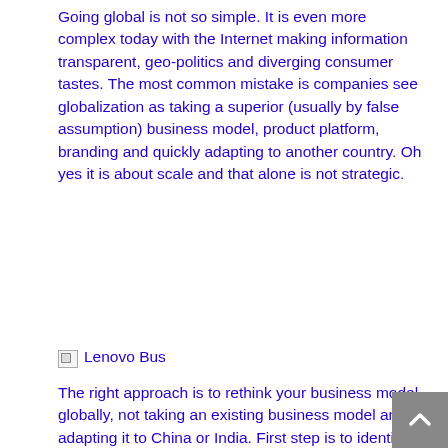Going global is not so simple. It is even more complex today with the Internet making information transparent, geo-politics and diverging consumer tastes. The most common mistake is companies see globalization as taking a superior (usually by false assumption) business model, product platform, branding and quickly adapting to another country. Oh yes it is about scale and that alone is not strategic.
[Figure (photo): Broken image placeholder labeled 'Lenovo Bus']
The right approach is to rethink your business model globally, not taking an existing business model and adapting it to China or India. First step is to identify key differences in customer needs (often opposite) and understand how to answer to those